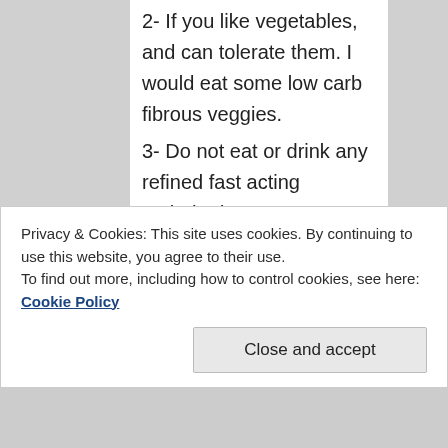2- If you like vegetables, and can tolerate them. I would eat some low carb fibrous veggies.
3- Do not eat or drink any refined fast acting carbohydrate.
4- I would use 2 tablespoons of virgin coconut oil daily. Coconut oil contains specific saturated fatty acids that are cable of healing liver injury.
Privacy & Cookies: This site uses cookies. By continuing to use this website, you agree to their use. To find out more, including how to control cookies, see here: Cookie Policy
Close and accept